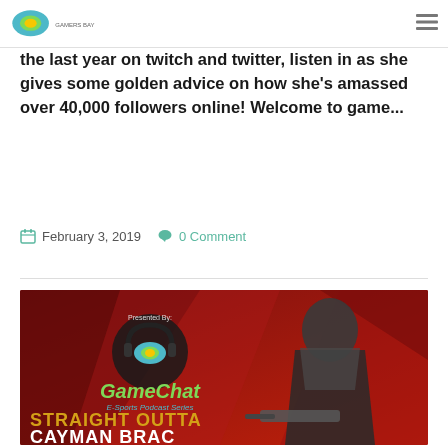Gamers Bay logo and hamburger menu
the last year on twitch and twitter, listen in as she gives some golden advice on how she's amassed over 40,000 followers online! Welcome to game...
February 3, 2019   0 Comment
[Figure (illustration): GameChat E-Sports Podcast Series promotional banner with red geometric background, soldier character with armor and weapon, GameChat logo with headphones, Gamers Bay logo, text 'Presented By:', and large text 'STRAIGHT OUTTA CAYMAN BRAC']